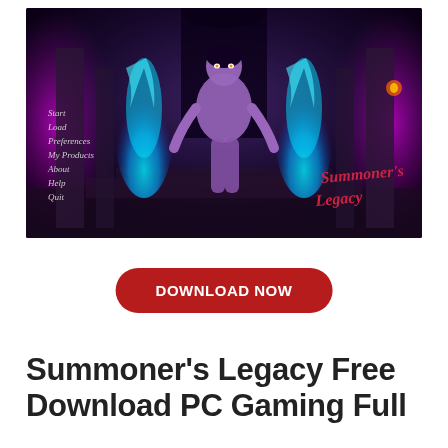[Figure (screenshot): Game screenshot showing the title screen of Summoner's Legacy — a fantasy adult game. A female figure with glowing eyes stands in a dark castle hall flanked by two pillars of blue flame. Menu items on the left read: Start, Load, Preferences, My Products, About, Help, Quit. Cursive text on the right reads 'Summoner's Legacy'.]
DOWNLOAD NOW
Summoner's Legacy Free Download PC Gaming Full